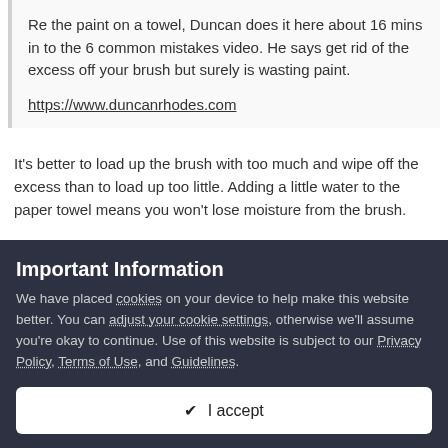Re the paint on a towel, Duncan does it here about 16 mins in to the 6 common mistakes video. He says get rid of the excess off your brush but surely is wasting paint.

https://www.duncanrhodes.com
It's better to load up the brush with too much and wipe off the excess than to load up too little. Adding a little water to the paper towel means you won't lose moisture from the brush.
Important Information
We have placed cookies on your device to help make this website better. You can adjust your cookie settings, otherwise we'll assume you're okay to continue. Use of this website is subject to our Privacy Policy, Terms of Use, and Guidelines.
✔ I accept